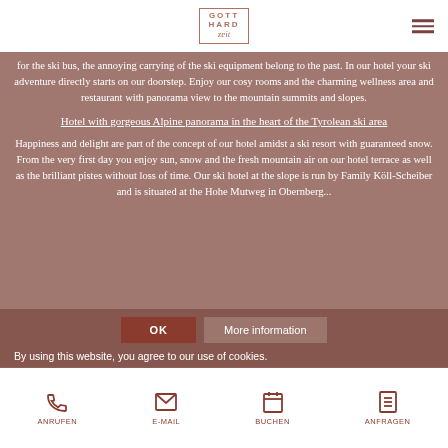GOTTHARD zeit
for the ski bus, the annoying carrying of the ski equipment belong to the past. In our hotel your ski adventure directly starts on our doorstep. Enjoy our cosy rooms and the charming wellness area and restaurant with panorama view to the mountain summits and slopes.
Hotel with gorgeous Alpine panorama in the heart of the Tyrolean ski area
Happiness and delight are part of the concept of our hotel amidst a ski resort with guaranteed snow. From the very first day you enjoy sun, snow and the fresh mountain air on our hotel terrace as well as the brilliant pistes without loss of time. Our ski hotel at the slope is run by Family Köll-Scheiber and is situated at the Hohe Mutweg in Obernberg...
By using this website, you agree to our use of cookies.
ANRUFEN  E-MAIL  BUCHEN  ANFRAGEN